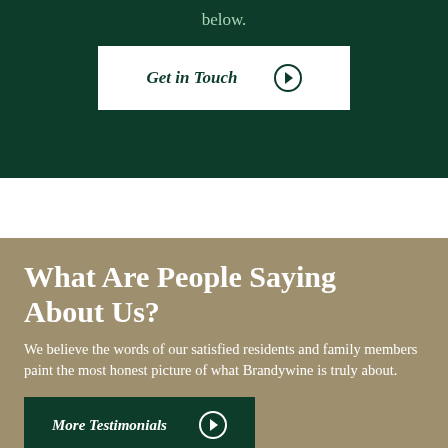below.
Get in Touch →
What Are People Saying About Us?
We believe the words of our satisfied residents and family members paint the most honest picture of what Brandywine is truly about.
More Testimonials →